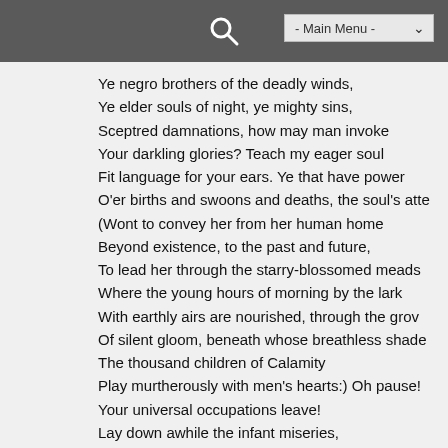- Main Menu -
Ye negro brothers of the deadly winds,
Ye elder souls of night, ye mighty sins,
Sceptred damnations, how may man invoke
Your darkling glories? Teach my eager soul
Fit language for your ears. Ye that have power
O'er births and swoons and deaths, the soul's atte
(Wont to convey her from her human home
Beyond existence, to the past and future,
To lead her through the starry-blossomed meads
Where the young hours of morning by the lark
With earthly airs are nourished, through the grov
Of silent gloom, beneath whose breathless shade
The thousand children of Calamity
Play murtherously with men's hearts:) Oh pause!
Your universal occupations leave!
Lay down awhile the infant miseries,
That to the empty and untenanted clay
Ye carry from the country of the unborn;
And grant the summoned soul one moment more
To linger on the threshold of its flesh;
For I would ask you.